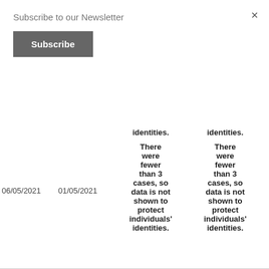Subscribe to our Newsletter
Subscribe
×
|  |  | individuals' identities. | individuals' identities. |
| --- | --- | --- | --- |
| 06/05/2021 | 01/05/2021 | There were fewer than 3 cases, so data is not shown to protect individuals' identities. | There were fewer than 3 cases, so data is not shown to protect individuals' identities. |